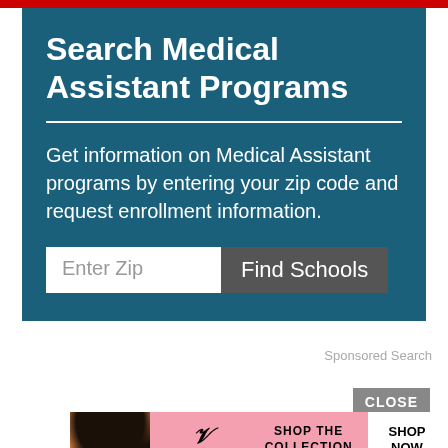Search Medical Assistant Programs
Get information on Medical Assistant programs by entering your zip code and request enrollment information.
Enter Zip  Find Schools
Sponsored Search
[Figure (screenshot): Victoria's Secret advertisement banner showing a model, VS logo, 'SHOP THE COLLECTION' text, and a 'SHOP NOW' button on a pink background. Includes a CLOSE button above.]